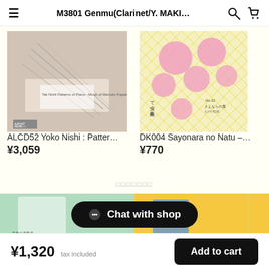M3801 Genmu(Clarinet/Y. MAKI…
[Figure (photo): Album cover for ALCD52 Yoko Nishi: Patterns of Piano - abstract photography with piano strings]
ALCD52 Yoko Nishi : Patter…
¥3,059
[Figure (photo): Book cover for DK004 Sayonara no Natu with Japanese text and floral circles on yellow background]
DK004 Sayonara no Natu –…
¥770
□□□□□□□
[Figure (photo): Bottom strip showing two product thumbnails partially visible]
Chat with shop
¥1,320  tax included
Add to cart